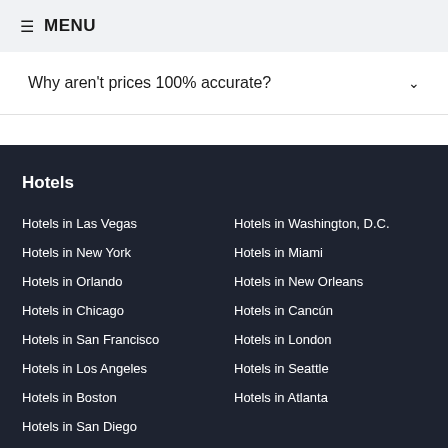≡ MENU
Why aren't prices 100% accurate?
Hotels
Hotels in Las Vegas
Hotels in New York
Hotels in Orlando
Hotels in Chicago
Hotels in San Francisco
Hotels in Los Angeles
Hotels in Boston
Hotels in San Diego
Hotels in Washington, D.C.
Hotels in Miami
Hotels in New Orleans
Hotels in Cancún
Hotels in London
Hotels in Seattle
Hotels in Atlanta